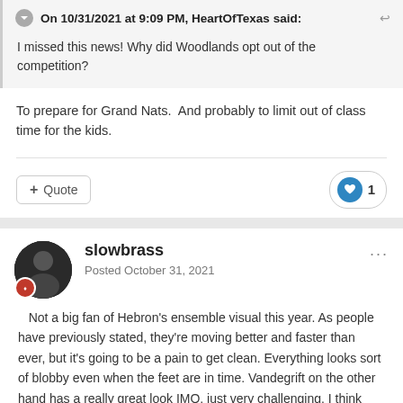On 10/31/2021 at 9:09 PM, HeartOfTexas said:
I missed this news! Why did Woodlands opt out of the competition?
To prepare for Grand Nats.  And probably to limit out of class time for the kids.
slowbrass
Posted October 31, 2021
Not a big fan of Hebron's ensemble visual this year. As people have previously stated, they're moving better and faster than ever, but it's going to be a pain to get clean. Everything looks sort of blobby even when the feet are in time. Vandegrift on the other hand has a really great look IMO, just very challenging. I think